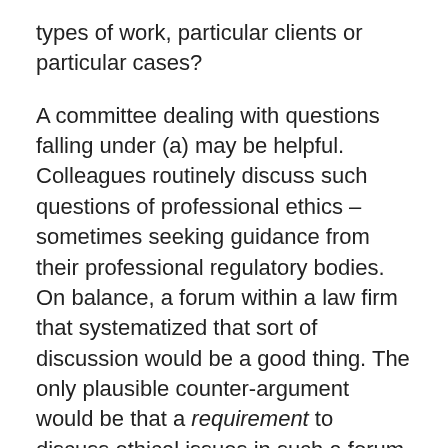types of work, particular clients or particular cases?
A committee dealing with questions falling under (a) may be helpful. Colleagues routinely discuss such questions of professional ethics – sometimes seeking guidance from their professional regulatory bodies. On balance, a forum within a law firm that systematized that sort of discussion would be a good thing. The only plausible counter-argument would be that a requirement to discuss ethical issues in such a forum might lead to particularly ethically scrupulous individuals being bulldozed by the less scrupulous, or at least less ethically sensitive, corporate conscience. Individuals who